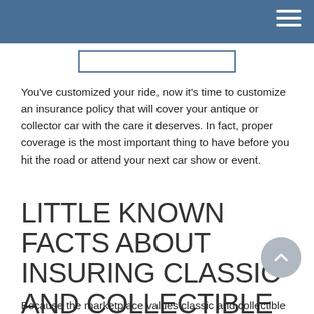You've customized your ride, now it's time to customize an insurance policy that will cover your antique or collector car with the care it deserves. In fact, proper coverage is the most important thing to have before you hit the road or attend your next car show or event.
LITTLE KNOWN FACTS ABOUT INSURING CLASSIC AND COLLECTIBLE CARS
Because the marketplace values classic and collectible